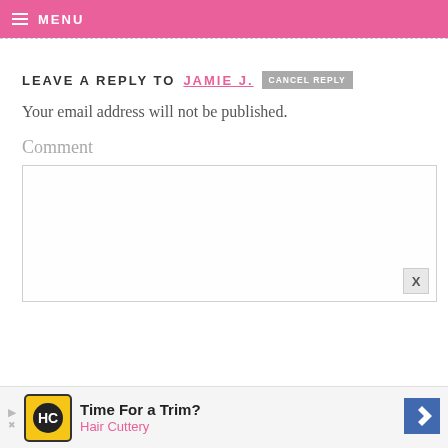MENU
LEAVE A REPLY TO JAMIE J.  CANCEL REPLY
Your email address will not be published.
Comment
[Figure (screenshot): Empty comment text area input box]
[Figure (infographic): Advertisement banner: Time For a Trim? Hair Cuttery with HC logo and direction arrow]